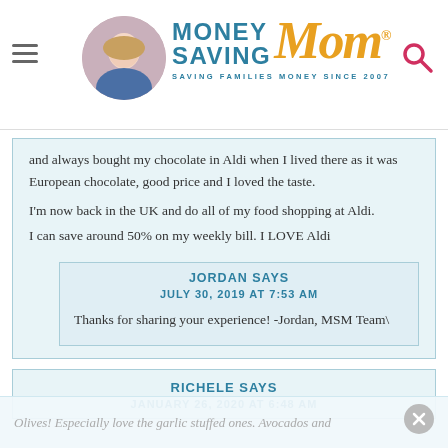Money Saving Mom® - Saving Families Money Since 2007
and always bought my chocolate in Aldi when I lived there as it was European chocolate, good price and I loved the taste.
I'm now back in the UK and do all of my food shopping at Aldi.
I can save around 50% on my weekly bill. I LOVE Aldi
JORDAN SAYS
JULY 30, 2019 AT 7:53 AM
Thanks for sharing your experience! -Jordan, MSM Team\
RICHELE SAYS
JANUARY 26, 2020 AT 6:48 AM
Olives! Especially love the garlic stuffed ones. Avocados and